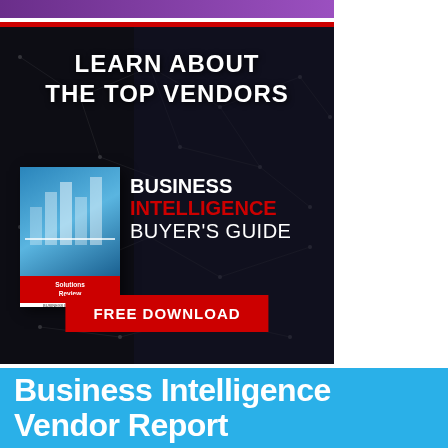[Figure (illustration): Purple gradient top banner strip]
[Figure (infographic): Dark advertisement banner with network dot pattern background, red top border, white bold text 'LEARN ABOUT THE TOP VENDORS', book cover image for Business Intelligence Buyer's Guide with Solutions Review badge, text 'BUSINESS INTELLIGENCE BUYER'S GUIDE' and red button 'FREE DOWNLOAD']
Business Intelligence Vendor Report